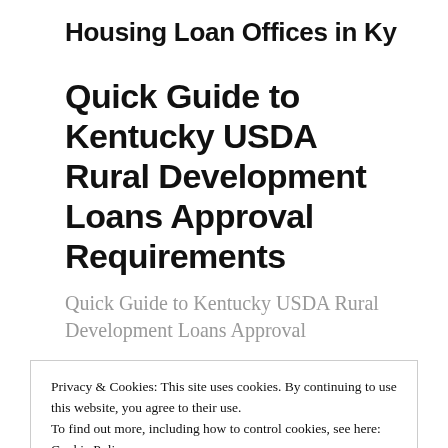Housing Loan Offices in Ky
Quick Guide to Kentucky USDA Rural Development Loans Approval Requirements
Quick Guide to Kentucky USDA Rural Development Loans Approval
Privacy & Cookies: This site uses cookies. By continuing to use this website, you agree to their use.
To find out more, including how to control cookies, see here:
Cookie Policy
Close and accept
Check your listings to see if the property